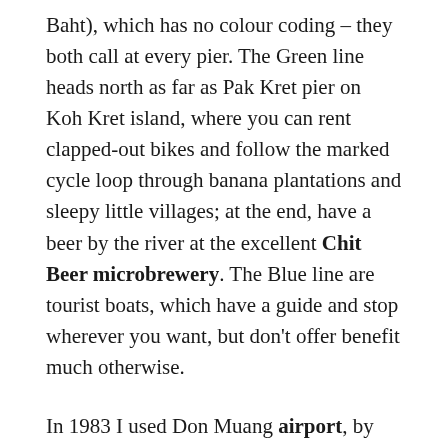Baht), which has no colour coding – they both call at every pier. The Green line heads north as far as Pak Kret pier on Koh Kret island, where you can rent clapped-out bikes and follow the marked cycle loop through banana plantations and sleepy little villages; at the end, have a beer by the river at the excellent Chit Beer microbrewery. The Blue line are tourist boats, which have a guide and stop wherever you want, but don't offer benefit much otherwise.
In 1983 I used Don Muang airport, by the main rail line north of the city; nowadays there's the modern Suvanarbhumi ('soo one a poom') airport, served by a purpose-built express rail link[link] that almost reaches the